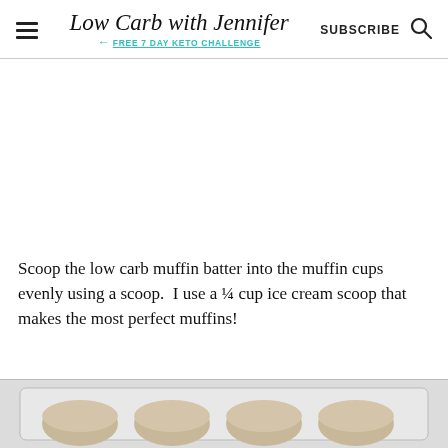Low Carb with Jennifer | FREE 7 DAY KETO CHALLENGE | SUBSCRIBE
[Figure (photo): Advertisement / blank white space area]
Scoop the low carb muffin batter into the muffin cups evenly using a scoop.  I use a ¼ cup ice cream scoop that makes the most perfect muffins!
[Figure (photo): Bottom portion of a muffin tin with muffins visible from the top of the page]